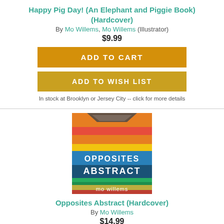Happy Pig Day! (An Elephant and Piggie Book) (Hardcover)
By Mo Willems, Mo Willems (Illustrator)
$9.99
ADD TO CART
ADD TO WISH LIST
In stock at Brooklyn or Jersey City -- click for more details
[Figure (photo): Book cover of 'Opposites Abstract' by mo willems — colorful abstract stripes in red, orange, yellow, green, blue — with title text overlaid in white on a blue band]
Opposites Abstract (Hardcover)
By Mo Willems
$14.99
ADD TO CART